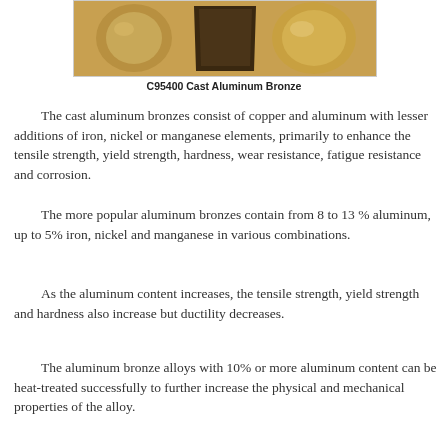[Figure (photo): Photo of C95400 Cast Aluminum Bronze material samples showing cylindrical and flat pieces with metallic bronze coloring]
C95400 Cast Aluminum Bronze
The cast aluminum bronzes consist of copper and aluminum with lesser additions of iron, nickel or manganese elements, primarily to enhance the tensile strength, yield strength, hardness, wear resistance, fatigue resistance and corrosion.
The more popular aluminum bronzes contain from 8 to 13 % aluminum, up to 5% iron, nickel and manganese in various combinations.
As the aluminum content increases, the tensile strength, yield strength and hardness also increase but ductility decreases.
The aluminum bronze alloys with 10% or more aluminum content can be heat-treated successfully to further increase the physical and mechanical properties of the alloy.